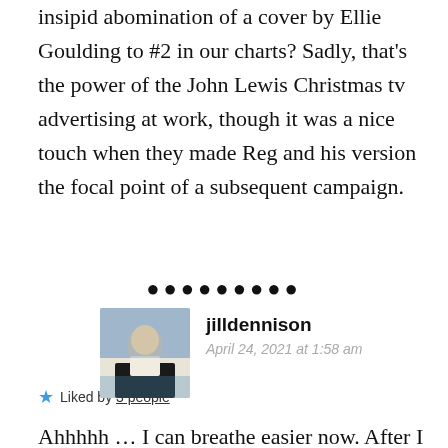insipid abomination of a cover by Ellie Goulding to #2 in our charts? Sadly, that's the power of the John Lewis Christmas tv advertising at work, though it was a nice touch when they made Reg and his version the focal point of a subsequent campaign.
Liked by 3 people
[Figure (other): Row of black dots used as a section divider]
jilldennison
April 24, 2021 at 1:58 am
[Figure (photo): Profile photo of commenter jilldennison, a woman standing outdoors near a building]
Ahhhhh … I can breathe easier now. After I